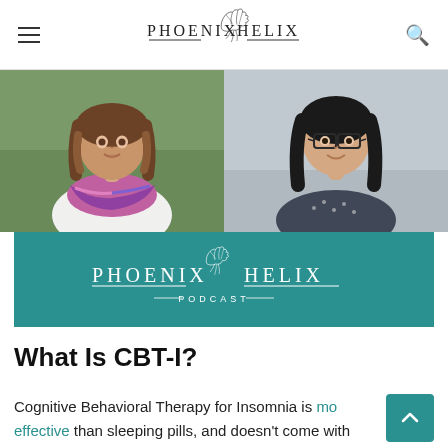Phoenix Helix (logo/navigation header)
[Figure (photo): Two portrait photos side by side: left photo shows a smiling middle-aged woman with brown wavy hair and a colorful purple/pink scarf outdoors; right photo shows a smiling Asian woman with dark hair and glasses in a professional setting.]
[Figure (logo): Phoenix Helix Podcast logo on a teal/dark cyan background banner. White phoenix bird illustration with 'PHOENIX HELIX PODCAST' text in white.]
What Is CBT-I?
Cognitive Behavioral Therapy for Insomnia is more effective than sleeping pills, and doesn't come with